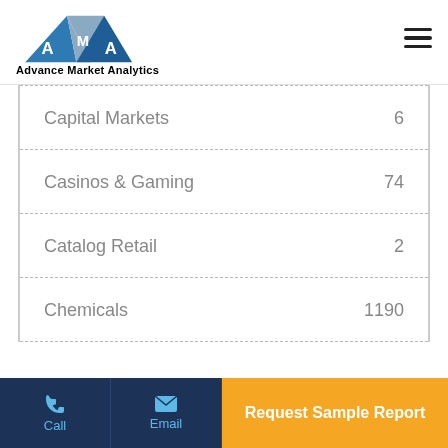[Figure (logo): Advance Market Analytics logo with blue/grey triangle shapes and AMA letters]
Capital Markets  6
Casinos & Gaming  74
Catalog Retail  2
Chemicals  1190
Call | Email | Request Sample Report